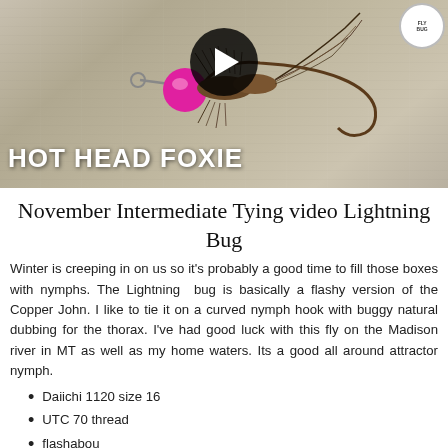[Figure (photo): Photo of a Hot Head Foxie fishing fly lure with a pink/magenta bead head, brown dubbing body, and feather hackle on a wood surface. A video play button overlay is shown in the center. Text overlay reads HOT HEAD FOXIE in bold white letters at the bottom left.]
November Intermediate Tying video Lightning Bug
Winter is creeping in on us so it's probably a good time to fill those boxes with nymphs. The Lightning  bug is basically a flashy version of the Copper John. I like to tie it on a curved nymph hook with buggy natural dubbing for the thorax. I've had good luck with this fly on the Madison river in MT as well as my home waters. Its a good all around attractor nymph.
Daiichi 1120 size 16
UTC 70 thread
flashabou
Thin Skin